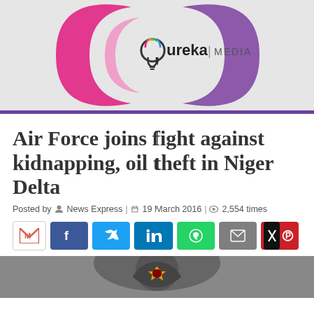[Figure (logo): Ureka Media logo — pink and purple swoosh shapes with a lightbulb icon and text 'ureka | MEDIA' on a light grey background]
Air Force joins fight against kidnapping, oil theft in Niger Delta
Posted by News Express | 19 March 2016 | 2,554 times
[Figure (infographic): Social share buttons row: Gmail, Facebook, Twitter, LinkedIn, WhatsApp, Email, X/Pinterest]
[Figure (photo): Partial photo of a military officer's cap/badge at bottom of page]